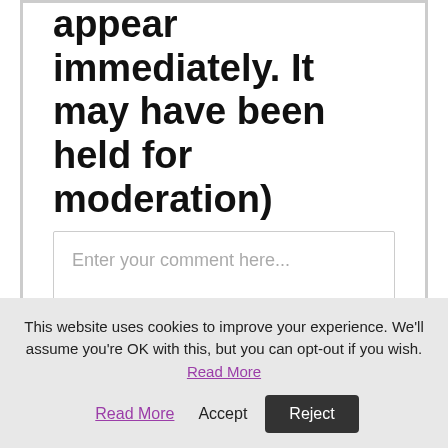appear immediately. It may have been held for moderation)
[Figure (screenshot): Comment input text box with placeholder text 'Enter your comment here...']
This website uses cookies to improve your experience. We'll assume you're OK with this, but you can opt-out if you wish. Read More Accept Reject